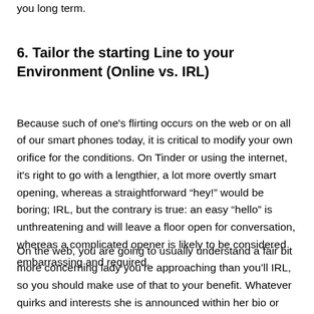you long term.
6. Tailor the starting Line to your Environment (Online vs. IRL)
Because such of one’s flirting occurs on the web or on all of our smart phones today, it is critical to modify your own orifice for the conditions. On Tinder or using the internet, it’s right to go with a lengthier, a lot more overtly smart opening, whereas a straightforward “hey!” would be boring; IRL, but the contrary is true: an easy “hello” is unthreatening and will leave a floor open for conversation, whereas a complicated opener is likely to be considered embarrassing and required.
On the web, you are going to usually understand a fair bit more concerning lady you’re approaching than you’ll IRL, so you should make use of that to your benefit. Whatever quirks and interests she is announced within her bio or profile tend to be ripe conversation beginners, thus do not be as well shy about